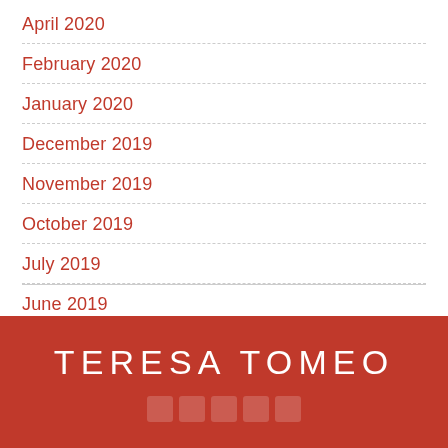April 2020
February 2020
January 2020
December 2019
November 2019
October 2019
July 2019
June 2019
May 2019
TERESA TOMEO